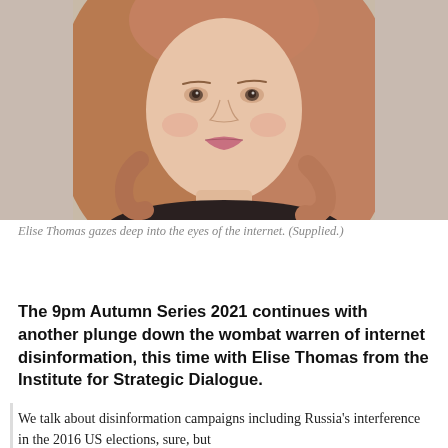[Figure (photo): Portrait photo of Elise Thomas, a woman with long auburn/reddish-blonde hair, looking directly at camera, wearing a dark top, against a light beige/cream background.]
Elise Thomas gazes deep into the eyes of the internet. (Supplied.)
The 9pm Autumn Series 2021 continues with another plunge down the wombat warren of internet disinformation, this time with Elise Thomas from the Institute for Strategic Dialogue.
We talk about disinformation campaigns including Russia's interference in the 2016 US elections, sure, but